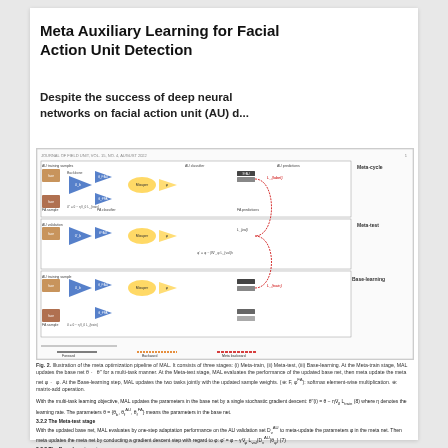Meta Auxiliary Learning for Facial Action Unit Detection
Despite the success of deep neural networks on facial action unit (AU) d...
[Figure (schematic): Diagram showing the meta optimization pipeline of MAL consisting of three stages: (i) Meta-train, (ii) Meta-test, (iii) Base-learning. Shows AU training samples, backbone, AU classifier, FA classifier, feature extractor, Mixuper, AU predictions, FA predictions, loss functions, and meta-cycle/meta-test/base-learning stages with forward/backward arrows.]
Fig. 2. Illustration of the meta optimization pipeline of MAL. It consists of three stages: (i) Meta-train, (ii) Meta-test, (iii) Base-learning. At the Meta-train stage, MAL updates the base net θ ← θ'' for a multi-task manner. At the Meta-test stage, MAL evaluates the performance of the updated base net, then meta update the meta net φ ← φ. At the Base-learning step, MAL updates the two tasks jointly with the updated sample weights. (J: ⊕ P, φ^FA^): softmax element-wise multiplication. ⊕: matrix-add operation.
With the multi-task learning objective, MAL updates the parameters in the base net by a single stochastic gradient descent: θ''(i) = θ − η∇θ L_{train} (8) where η denotes the learning rate. The parameters θ = {θ_b, θ_f^{AU}, θ_f^{FA}} means the parameters in the base net.
3.2.2 The Meta-test stage
With the updated base net, MAL evaluates by one-step adaptation performance on the AU validation set D_v^{AU} to meta-update the parameters φ in the meta net. Given a batch of AU validation samples, L_{val} = {(·), α_i}: 1 ≤ i ≤ M}, MAL computes the loss L_{val} on D_v^{AU}, then updates the meta net by conducting a gradient descent step with regard to φ: φ' = φ − γ∇_φ L_{val}(D_v^{AU}|θ_φ) (7) where γ is the learning rate for the meta network and {θ^b_φ, θ^{FA}_φ} means the parameters in the backbone network and the AU classifier. MAL takes a meta backward, i.e., derivatives over-chain-rule to update φ. The meta gradients (∇_φ L_a) are from calculating a gradient through a gradient.
The second derivative operation was also adopted in several other meta-learning frameworks such as [39], [38], [20], [21].
3.2.3 The Base-learning stage
After the Meta-train and Meta-test stage, the meta net is θ(θ) has been updated. With which MAL obtains the updated sample weights: α_i^{AU} = g_i f(ξ_i; φ) α_i^{FA} = g_i f(ξ_i; φ) (8) Then MAL computes the rebalanced multi-task loss on the current training batch samples: L_{train} = Σ_i α_i^{AU} L_i^{AU}(y_{AU}) - Σ_i α_i^{FA} L_i^{FA}(y_{FA}) (9) By minimizing L_{train}, MAL re-updates the parameters in the base net: θ = θ − η ∇θ L_{train} (10) where η is the learning rate. θ and φ will be the initial parameters of the base net and the meta net in the next training iteration.
Different from the vanilla stochastic gradient descent, for multi-task learning, MAL's dynamically updates the loss to parameters...